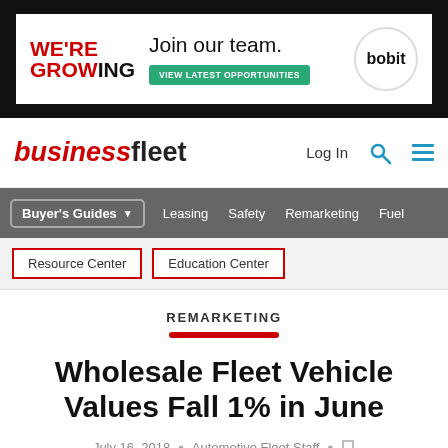[Figure (other): Advertisement banner: 'WE'RE GROWING — Join our team. VIEW LATEST OPPORTUNITIES — bobit']
businessfleet — Log In [search icon] [menu icon]
Buyer's Guides ▾   Leasing   Safety   Remarketing   Fuel
Resource Center   Education Center
REMARKETING
Wholesale Fleet Vehicle Values Fall 1% in June
July 16, 2018  •  Automotive Fleet Staff  •  [bookmark]